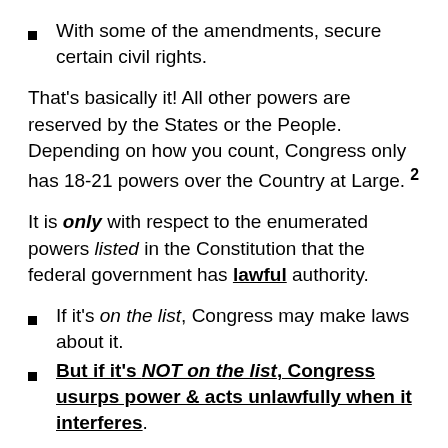With some of the amendments, secure certain civil rights.
That’s basically it! All other powers are reserved by the States or the People. Depending on how you count, Congress only has 18-21 powers over the Country at Large. 2
It is only with respect to the enumerated powers listed in the Constitution that the federal government has lawful authority.
If it’s on the list, Congress may make laws about it.
But if it’s NOT on the list, Congress usurps power & acts unlawfully when it interferes.
Is “education” on the list of delegated powers? Raising children? Health Care? Environmental regulation? Is most